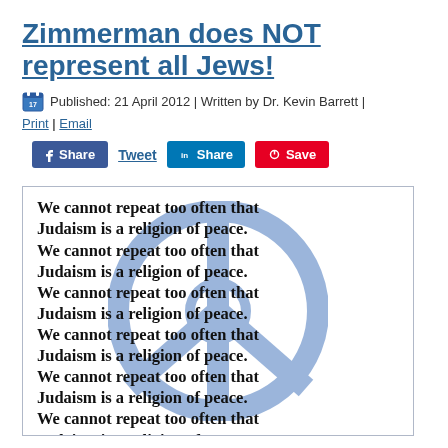Zimmerman does NOT represent all Jews!
Published: 21 April 2012 | Written by Dr. Kevin Barrett | Print | Email
[Figure (infographic): Image with a blue peace symbol (Star of David with peace sign) as a background watermark, overlaid with bold repeated text reading: 'We cannot repeat too often that Judaism is a religion of peace.' repeated multiple times.]